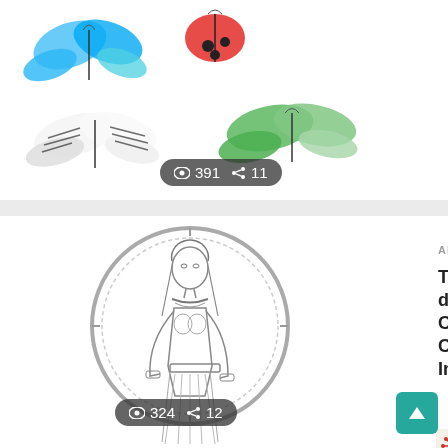[Figure (illustration): Colorful butterfly illustrations: blue butterfly top-left, red ladybug top-center, black-and-white striped butterfly bottom-left, green butterfly bottom-right, with view count 391 and share count 11]
[Figure (illustration): Pencil drawing of an Egyptian-style female figure standing in a circular ornamental frame, with view count 324 and share count 12]
ART DRAWINGS
The biggest comedian database on-line, Comedian Vine options Comedian Evaluations, Information, Vide...
by admin 2 years ago